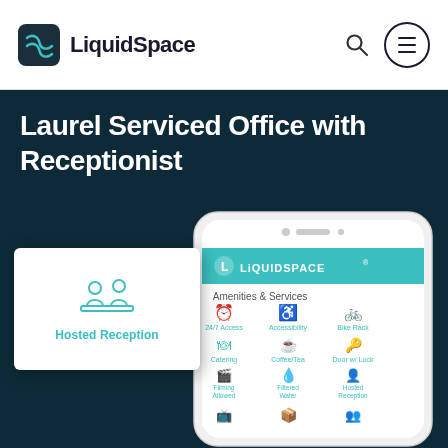[Figure (logo): LiquidSpace logo with icon and text in navigation bar]
Laurel Serviced Office with Receptionist
[Figure (screenshot): Mobile phone screenshot showing LiquidSpace app with Amenities & Services section including icons for 24/7 Access, Accessibility, Bike Rack, Catering, Coffee/Tea, Door w/Lock, Filming Allowed, Filtered Water, Hosted Reception. Overlaid card shows Hosted Reception icon.]